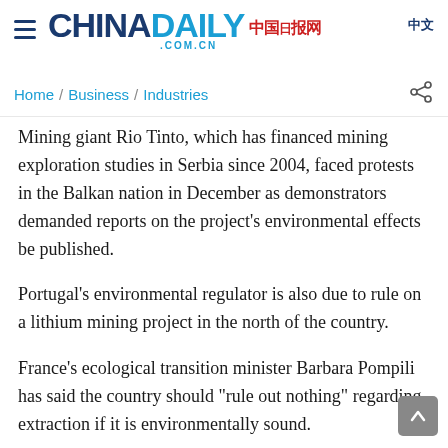CHINADAILY 中国日报网 .COM.CN 中文
Home / Business / Industries
Mining giant Rio Tinto, which has financed mining exploration studies in Serbia since 2004, faced protests in the Balkan nation in December as demonstrators demanded reports on the project's environmental effects be published.
Portugal's environmental regulator is also due to rule on a lithium mining project in the north of the country.
France's ecological transition minister Barbara Pompili has said the country should "rule out nothing" regarding extraction if it is environmentally sound.
Europe could also increase its South American lithium